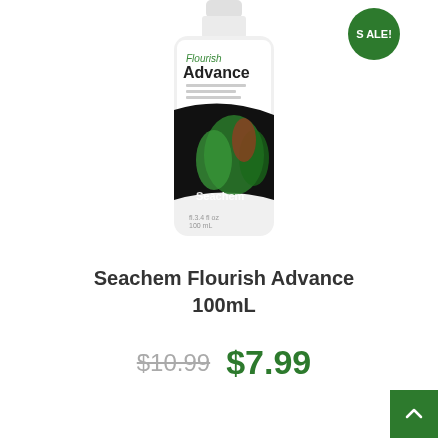[Figure (photo): Seachem Flourish Advance 100mL bottle product photo with a green SALE! badge in the top right corner. The bottle is white with a label showing green aquatic plants and the Seachem brand name.]
Seachem Flourish Advance 100mL
$10.99  $7.99